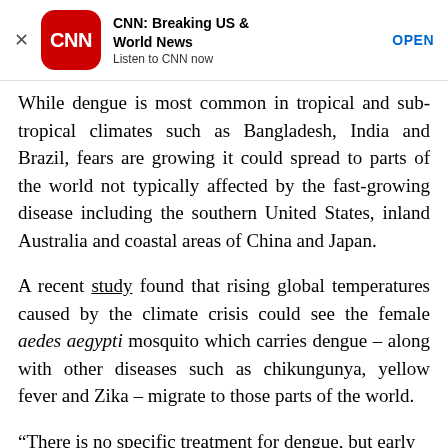[Figure (screenshot): CNN app advertisement banner with red rounded-square icon showing CNN logo, title 'CNN: Breaking US & World News', subtitle 'Listen to CNN now', and OPEN button. An X close button appears on the left.]
While dengue is most common in tropical and sub-tropical climates such as Bangladesh, India and Brazil, fears are growing it could spread to parts of the world not typically affected by the fast-growing disease including the southern United States, inland Australia and coastal areas of China and Japan.
A recent study found that rising global temperatures caused by the climate crisis could see the female aedes aegypti mosquito which carries dengue – along with other diseases such as chikungunya, yellow fever and Zika – migrate to those parts of the world.
“There is no specific treatment for dengue, but early